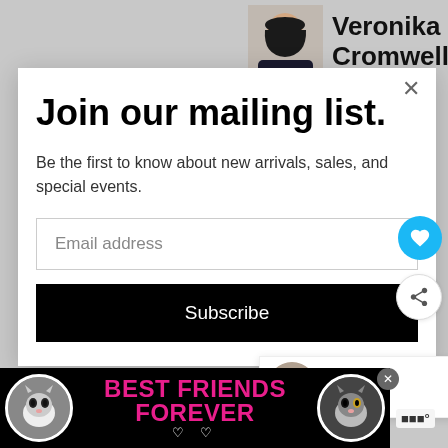[Figure (photo): Profile photo of Veronika Cromwell, a woman with dark hair]
Veronika Cromwell
Join our mailing list.
Be the first to know about new arrivals, sales, and special events.
Email address
Subscribe
Alternatively,
[Figure (screenshot): WHAT'S NEXT banner showing '40 Free Adorable...' with a circular thumbnail]
[Figure (photo): Advertisement banner with two cats and text BEST FRIENDS FOREVER in pink on black background]